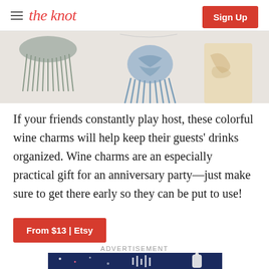the knot | Sign Up
[Figure (photo): Decorative tassel and macrame wine charms in blue and grey on a light background]
If your friends constantly play host, these colorful wine charms will help keep their guests' drinks organized. Wine charms are an especially practical gift for an anniversary party—just make sure to get there early so they can be put to use!
From $13 | Etsy
ADVERTISEMENT
[Figure (photo): Advertisement banner with dark blue background showing baby product imagery]